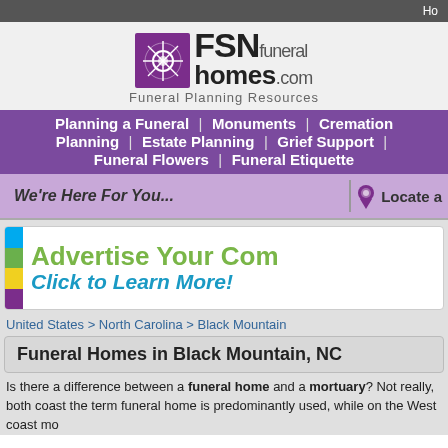Ho
[Figure (logo): FSN funeral homes.com logo with purple icon and text, Funeral Planning Resources tagline]
Planning a Funeral | Monuments | Cremation Planning | Estate Planning | Grief Support | Funeral Flowers | Funeral Etiquette
We're Here For You... | Locate a
[Figure (infographic): Advertise Your Company - Click to Learn More! Banner ad with colored sidebar]
United States > North Carolina > Black Mountain
Funeral Homes in Black Mountain, NC
Is there a difference between a funeral home and a mortuary? Not really, both coast the term funeral home is predominantly used, while on the West coast mo